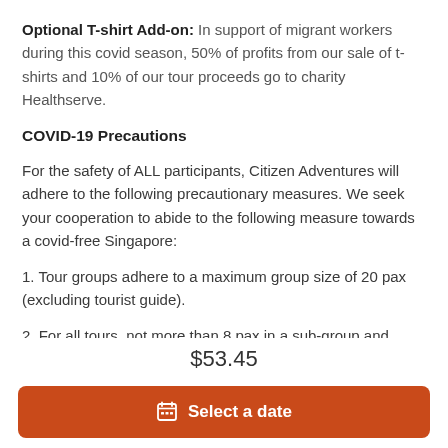Optional T-shirt Add-on: In support of migrant workers during this covid season, 50% of profits from our sale of t-shirts and 10% of our tour proceeds go to charity Healthserve.
COVID-19 Precautions
For the safety of ALL participants, Citizen Adventures will adhere to the following precautionary measures. We seek your cooperation to abide to the following measure towards a covid-free Singapore:
1. Tour groups adhere to a maximum group size of 20 pax (excluding tourist guide).
2. For all tours, not more than 8 pax in a sub-group and
$53.45
Select a date